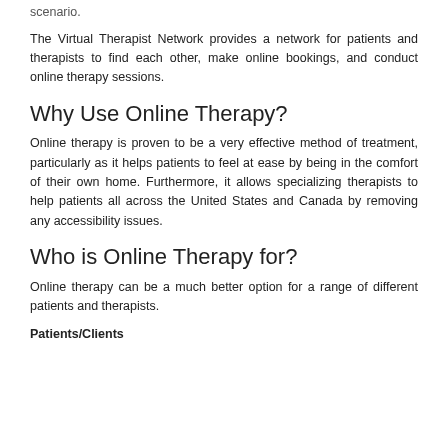scenario.
The Virtual Therapist Network provides a network for patients and therapists to find each other, make online bookings, and conduct online therapy sessions.
Why Use Online Therapy?
Online therapy is proven to be a very effective method of treatment, particularly as it helps patients to feel at ease by being in the comfort of their own home. Furthermore, it allows specializing therapists to help patients all across the United States and Canada by removing any accessibility issues.
Who is Online Therapy for?
Online therapy can be a much better option for a range of different patients and therapists.
Patients/Clients